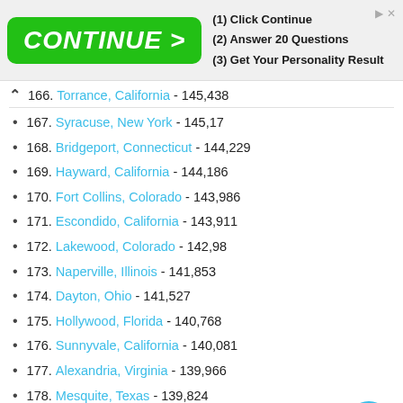[Figure (other): Advertisement banner with green CONTINUE > button and steps: (1) Click Continue, (2) Answer 20 Questions, (3) Get Your Personality Result]
166. Torrance, California - 145,438
167. Syracuse, New York - 145,17
168. Bridgeport, Connecticut - 144,229
169. Hayward, California - 144,186
170. Fort Collins, Colorado - 143,986
171. Escondido, California - 143,911
172. Lakewood, Colorado - 142,98
173. Naperville, Illinois - 141,853
174. Dayton, Ohio - 141,527
175. Hollywood, Florida - 140,768
176. Sunnyvale, California - 140,081
177. Alexandria, Virginia - 139,966
178. Mesquite, Texas - 139,824
179. Hampton, Virginia - 137,436
180. Pasadena, California - 137,122